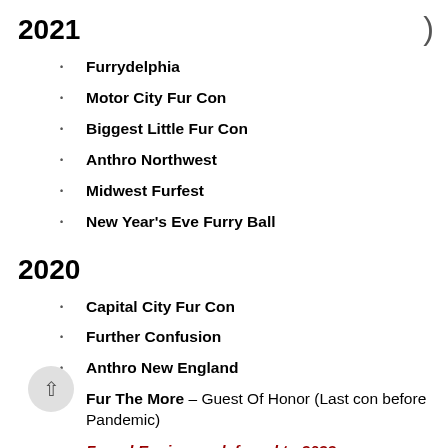2021
Furrydelphia
Motor City Fur Con
Biggest Little Fur Con
Anthro Northwest
Midwest Furfest
New Year's Eve Furry Ball
2020
Capital City Fur Con
Further Confusion
Anthro New England
Fur The More – Guest Of Honor (Last con before Pandemic)
Furnal Equinox – deferred to 2022